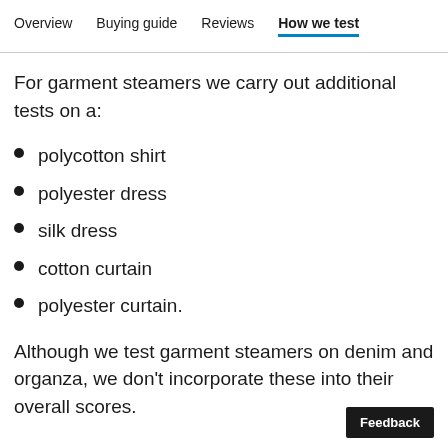Overview  Buying guide  Reviews  How we test
For garment steamers we carry out additional tests on a:
polycotton shirt
polyester dress
silk dress
cotton curtain
polyester curtain.
Although we test garment steamers on denim and organza, we don't incorporate these into their overall scores.